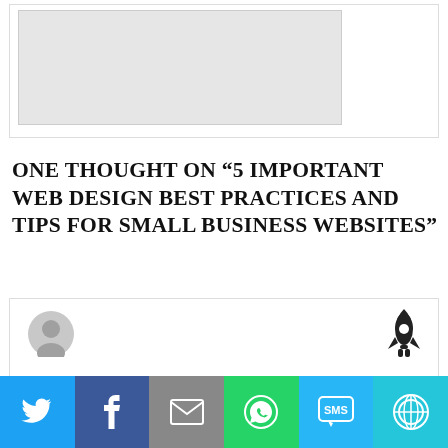[Figure (other): Placeholder advertisement image box with gray background]
ONE THOUGHT ON “5 IMPORTANT WEB DESIGN BEST PRACTICES AND TIPS FOR SMALL BUSINESS WEBSITES”
[Figure (other): Comment card with user avatar (gray silhouette) on the left and a rocket icon on the right]
Social share bar with Twitter, Facebook, Email, WhatsApp, SMS, and More buttons